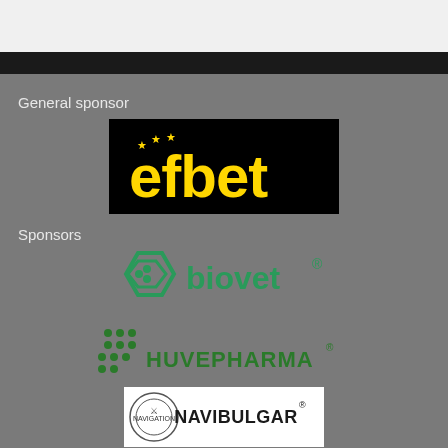General sponsor
[Figure (logo): efbet logo - yellow text on black background with stars]
Sponsors
[Figure (logo): Biovet logo - green hexagon icon with biovet text and registered trademark]
[Figure (logo): Huvepharma logo - green dots pattern with HUVEPHARMA text]
[Figure (logo): Navibulgar logo - navigation maritime bulgarie emblem with NAVIBULGAR text]